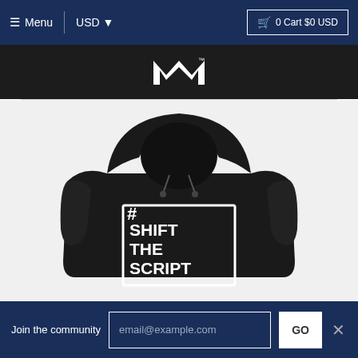≡ Menu  |  USD ▾  🛒 0 Cart $0 USD
[Figure (logo): White geometric M-shaped logo mark with TM symbol on dark background]
[Figure (photo): Black hoodie sweatshirt with #SHIFTTHESCRIPT printed in white bold text inside a white rectangle border]
Join the community  email@example.com  GO  ×